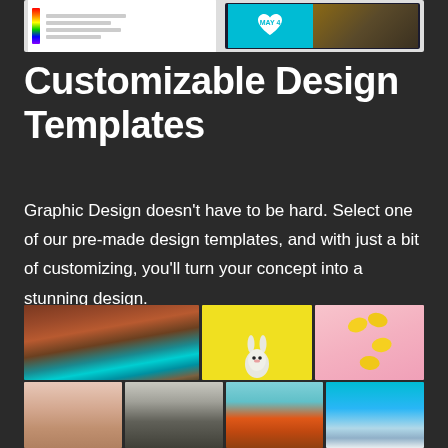[Figure (screenshot): Screenshot of design template editor showing invitation cards and a laptop screen]
Customizable Design Templates
Graphic Design doesn't have to be hard. Select one of our pre-made design templates, and with just a bit of customizing, you'll turn your concept into a stunning design.
[Figure (photo): Grid of stock photos: teal vintage car in front of brick building, white rabbit on yellow background, lemons on pink background]
[Figure (photo): Grid of stock photos: industrial silos, woman in red dress, mountains with teal sky]